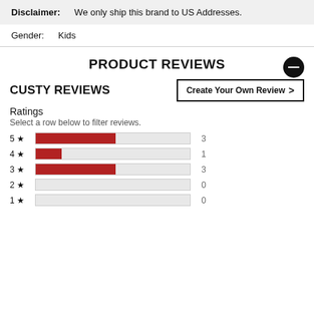Disclaimer: We only ship this brand to US Addresses.
Gender: Kids
PRODUCT REVIEWS
CUSTY REVIEWS
Create Your Own Review >
Ratings
Select a row below to filter reviews.
[Figure (bar-chart): Ratings distribution]